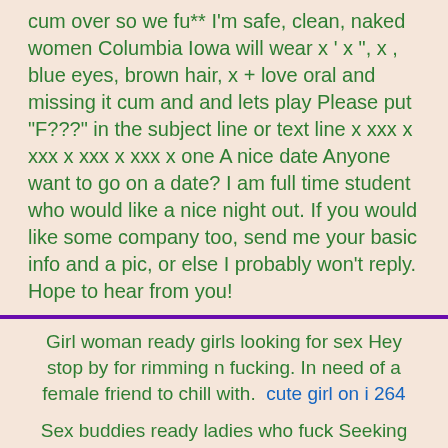cum over so we fu** I'm safe, clean, naked women Columbia Iowa will wear x ' x ", x , blue eyes, brown hair, x + love oral and missing it cum and and lets play Please put "F???" in the subject line or text line x xxx x xxx x xxx x xxx x one A nice date Anyone want to go on a date? I am full time student who would like a nice night out. If you would like some company too, send me your basic info and a pic, or else I probably won't reply. Hope to hear from you!
Girl woman ready girls looking for sex Hey stop by for rimming n fucking. In need of a female friend to chill with.  cute girl on i 264
Sex buddies ready ladies who fuck Seeking masculine discreet passionate get up. Hosting late nite suck n fuck.  Guadalupita NM cheating wives
Lonely older ladies ready big boobs New to NIU looking for a Porte 420 girl. We love to get up it...